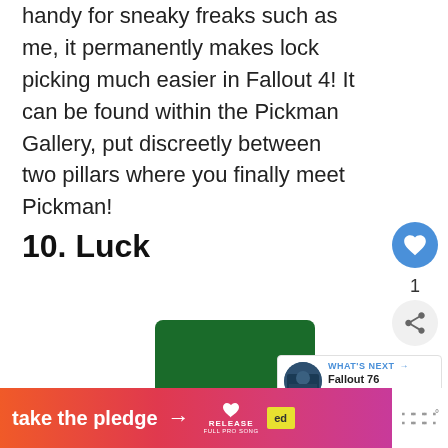handy for sneaky freaks such as me, it permanently makes lock picking much easier in Fallout 4! It can be found within the Pickman Gallery, put discreetly between two pillars where you finally meet Pickman!
10. Luck
[Figure (illustration): A cartoon/game character wearing a green leprechaun top hat with a yellow belt buckle, partially visible at the bottom of the page.]
[Figure (screenshot): WHAT'S NEXT card showing a thumbnail image of Fallout 76 Aluminum... with a blue arrow label.]
[Figure (infographic): Ad banner with gradient pink/orange background reading 'take the pledge' with an arrow, Release logo with heart, and an ed logo. White right side shows stylized W degree symbol.]